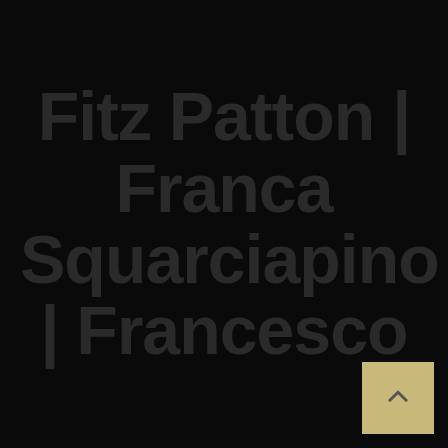Fitz Patton | Franca Squarciapino | Francesco